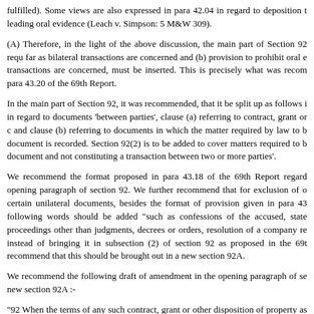fulfilled). Some views are also expressed in para 42.04 in regard to deposition that leading oral evidence (Leach v. Simpson: 5 M&W 309).
(A) Therefore, in the light of the above discussion, the main part of Section 92 requ far as bilateral transactions are concerned and (b) provision to prohibit oral e transactions are concerned, must be inserted. This is precisely what was recom para 43.20 of the 69th Report.
In the main part of Section 92, it was recommended, that it be split up as follows i in regard to documents 'between parties', clause (a) referring to contract, grant or c and clause (b) referring to documents in which the matter required by law to b document is recorded. Section 92(2) is to be added to cover matters required to b document and not constituting a transaction between two or more parties'.
We recommend the format proposed in para 43.18 of the 69th Report regard opening paragraph of section 92. We further recommend that for exclusion of o certain unilateral documents, besides the format of provision given in para 43 following words should be added "such as confessions of the accused, state proceedings other than judgments, decrees or orders, resolution of a company re instead of bringing it in subsection (2) of section 92 as proposed in the 69t recommend that this should be brought out in a new section 92A.
We recommend the following draft of amendment in the opening paragraph of se new section 92A :-
"92 When the terms of any such contract, grant or other disposition of property as or any matter required by law to be reduced to the form of a document and constit two or more parties, have been proved according to section 91, no evidence statement shall be admitted-
(a) as between the parties to any such contract, grant or other disposition of prope